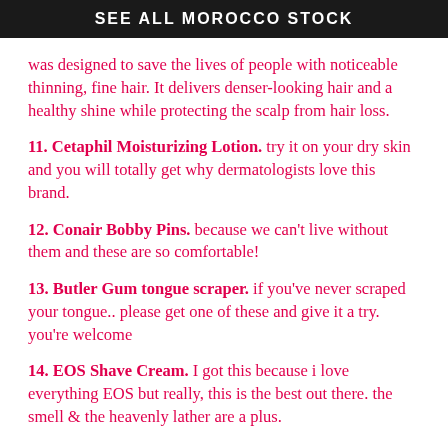SEE ALL MOROCCO STOCK
was designed to save the lives of people with noticeable thinning, fine hair. It delivers denser-looking hair and a healthy shine while protecting the scalp from hair loss.
11. Cetaphil Moisturizing Lotion. try it on your dry skin and you will totally get why dermatologists love this brand.
12. Conair Bobby Pins. because we can't live without them and these are so comfortable!
13. Butler Gum tongue scraper. if you've never scraped your tongue.. please get one of these and give it a try. you're welcome
14. EOS Shave Cream. I got this because i love everything EOS but really, this is the best out there. the smell & the heavenly lather are a plus.